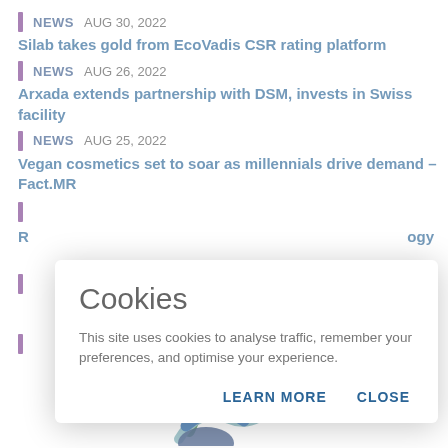NEWS  AUG 30, 2022
Silab takes gold from EcoVadis CSR rating platform
NEWS  AUG 26, 2022
Arxada extends partnership with DSM, invests in Swiss facility
NEWS  AUG 25, 2022
Vegan cosmetics set to soar as millennials drive demand – Fact.MR
R  ...ogy
[Figure (other): Cookie consent dialog box with title 'Cookies', body text 'This site uses cookies to analyse traffic, remember your preferences, and optimise your experience.', and two buttons: LEARN MORE and CLOSE]
[Figure (logo): Website logo with wave/swirl design in blue and green colors]